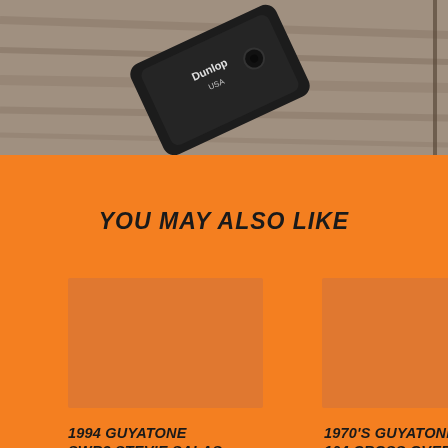[Figure (photo): Top portion of a photo showing a guitar pedal (Dunlop brand) lying on a wooden floor surface, photographed from above at an angle. Dark colored pedal with a knob visible.]
YOU MAY ALSO LIKE
[Figure (photo): Thumbnail image placeholder for 1994 Guyatone SWR2 Stevie Salas Wah Rocker Autowah product]
[Figure (photo): Thumbnail image placeholder for 1970's Guyatone PS-104 Cross Over Box Autowah MIJ Japan Vintage Pedal product]
1994 GUYATONE SWR2 STEVIE SALAS WAH ROCKER AUTOWAH
1970'S GUYATONE PS-104 CROSS OVER BOX AUTOWAH MIJ JAPAN VINTAGE PEDAL